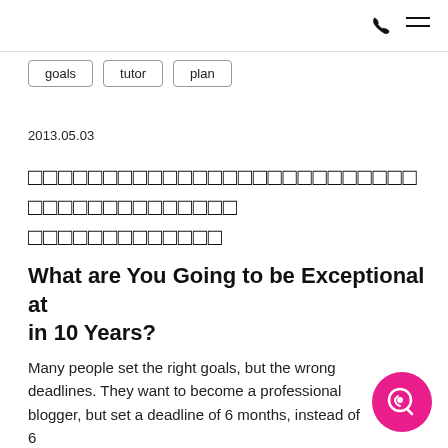goals
tutor
plan
2013.05.03
□□□□□□□□□□□□□□□□□□□□□□□□□□□□□□□□□□□□□□□□□□□□□□□□□□□□□□□□□
What are You Going to be Exceptional at in 10 Years?
Many people set the right goals, but the wrong deadlines. They want to become a professional blogger, but set a deadline of 6 months, instead of 6